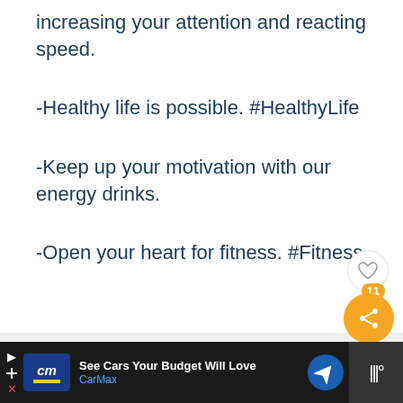increasing your attention and reacting speed.
-Healthy life is possible. #HealthyLife
-Keep up your motivation with our energy drinks.
-Open your heart for fitness. #Fitness
[Figure (screenshot): Social media UI elements: heart/like button, share button with count 11, and a 'What's Next' promotional banner for '120+ Catchy Fruit Juice...']
[Figure (screenshot): Advertisement bar at bottom: CarMax ad 'See Cars Your Budget Will Love' with navigation icon and Waze-style logo on right]